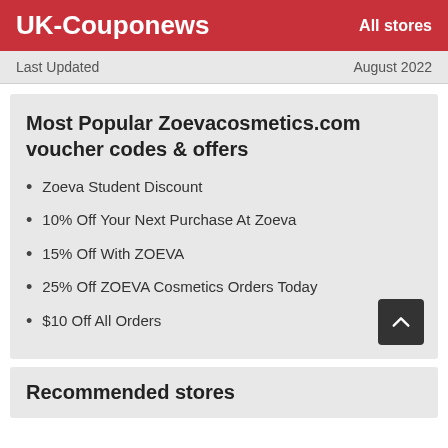UK-Couponews   All stores
Last Updated   August 2022
Most Popular Zoevacosmetics.com voucher codes & offers
Zoeva Student Discount
10% Off Your Next Purchase At Zoeva
15% Off With ZOEVA
25% Off ZOEVA Cosmetics Orders Today
$10 Off All Orders
Recommended stores